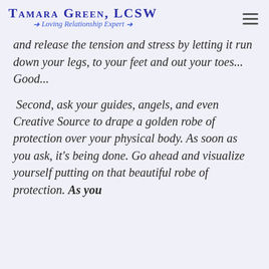Tamara Green, LCSW — Loving Relationship Expert
and release the tension and stress by letting it run down your legs, to your feet and out your toes... Good...
Second, ask your guides, angels, and even Creative Source to drape a golden robe of protection over your physical body. As soon as you ask, it's being done. Go ahead and visualize yourself putting on that beautiful robe of protection. As you